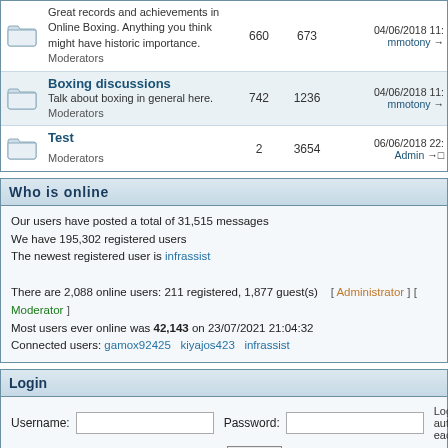|  | Forum | Topics | Posts | Last post |
| --- | --- | --- | --- | --- |
| [folder] | Great records and achievements in Online Boxing. Anything you think might have historic importance.
Moderators | 660 | 673 | 04/06/2018 11:
mmotony → |
| [folder] | Boxing discussions
Talk about boxing in general here.
Moderators | 742 | 1236 | 04/06/2018 11:
mmotony → |
| [folder] | Test
Moderators | 2 | 3654 | 06/06/2018 22:
Admin →□ |
Who is online
Our users have posted a total of 31,515 messages
We have 195,302 registered users
The newest registered user is infrassist

There are 2,088 online users: 211 registered, 1,877 guest(s)  [ Administrator ] [ Moderator ]
Most users ever online was 42,143 on 23/07/2021 21:04:32
Connected users: gamox92425  kiyajos423  infrassist
Login
Username:  [input]  Password: [input]  Log me on automatically each  [checkbox] Login
New Messages    No new messages    Blocked Forum
Powered by JForum 2.1.8 © JForum Team